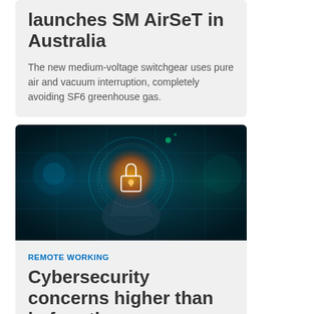launches SM AirSeT in Australia
The new medium-voltage switchgear uses pure air and vacuum interruption, completely avoiding SF6 greenhouse gas.
[Figure (photo): A glowing digital padlock held in a hand against a blue circuit-board background, representing cybersecurity.]
REMOTE WORKING
Cybersecurity concerns higher than before the